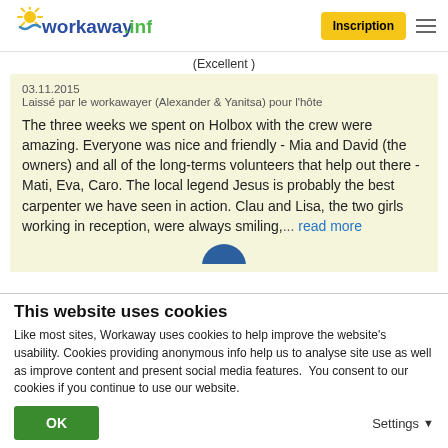workaway.info — Inscription
(Excellent )
03.11.2015
Laissé par le workawayer (Alexander & Yanitsa) pour l'hôte

The three weeks we spent on Holbox with the crew were amazing. Everyone was nice and friendly - Mia and David (the owners) and all of the long-terms volunteers that help out there - Mati, Eva, Caro. The local legend Jesus is probably the best carpenter we have seen in action. Clau and Lisa, the two girls working in reception, were always smiling,... read more
This website uses cookies
Like most sites, Workaway uses cookies to help improve the website's usability. Cookies providing anonymous info help us to analyse site use as well as improve content and present social media features.  You consent to our cookies if you continue to use our website.
OK
Settings